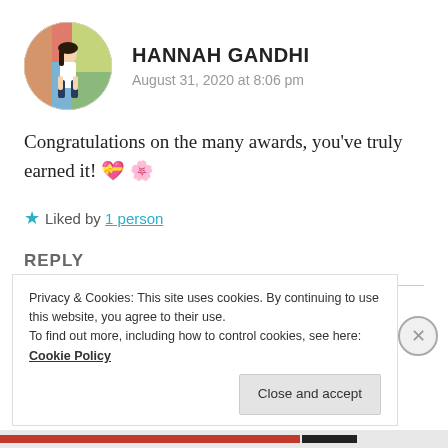[Figure (photo): Circular avatar photo of Hannah Gandhi, a young woman standing in front of colorful artwork/posters]
HANNAH GANDHI
August 31, 2020 at 8:06 pm
Congratulations on the many awards, you've truly earned it! 💝 🌸
★ Liked by 1 person
REPLY
Privacy & Cookies: This site uses cookies. By continuing to use this website, you agree to their use.
To find out more, including how to control cookies, see here: Cookie Policy
Close and accept